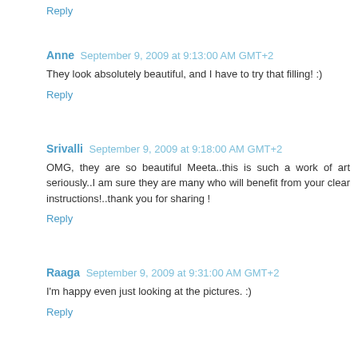Reply
Anne  September 9, 2009 at 9:13:00 AM GMT+2
They look absolutely beautiful, and I have to try that filling! :)
Reply
Srivalli  September 9, 2009 at 9:18:00 AM GMT+2
OMG, they are so beautiful Meeta..this is such a work of art seriously..I am sure they are many who will benefit from your clear instructions!..thank you for sharing !
Reply
Raaga  September 9, 2009 at 9:31:00 AM GMT+2
I'm happy even just looking at the pictures. :)
Reply